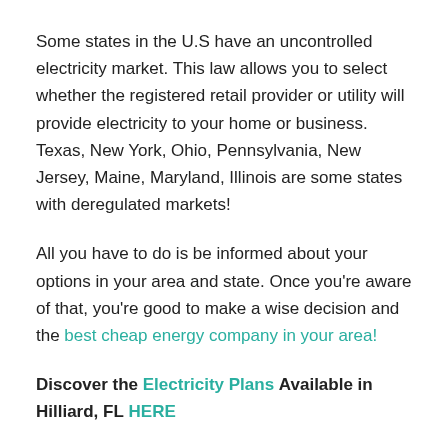Some states in the U.S have an uncontrolled electricity market. This law allows you to select whether the registered retail provider or utility will provide electricity to your home or business. Texas, New York, Ohio, Pennsylvania, New Jersey, Maine, Maryland, Illinois are some states with deregulated markets!
All you have to do is be informed about your options in your area and state. Once you're aware of that, you're good to make a wise decision and the best cheap energy company in your area!
Discover the Electricity Plans Available in Hilliard, FL HERE
How to Transfer Electric Service
...